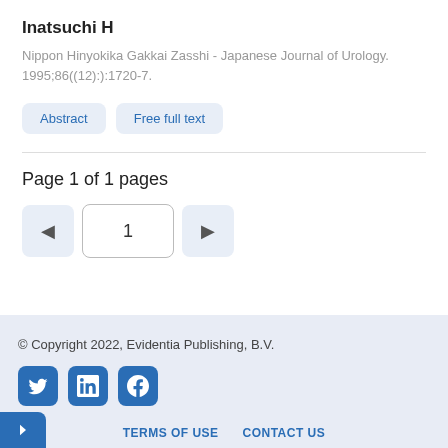Inatsuchi H
Nippon Hinyokika Gakkai Zasshi - Japanese Journal of Urology. 1995;86((12):):1720-7.
Abstract  Free full text
Page 1 of 1 pages
◄  1  ►
© Copyright 2022, Evidentia Publishing, B.V.  TERMS OF USE  CONTACT US